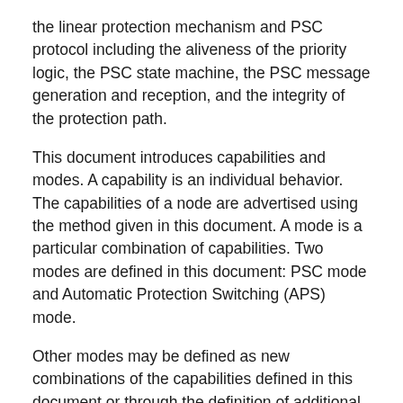the linear protection mechanism and PSC protocol including the aliveness of the priority logic, the PSC state machine, the PSC message generation and reception, and the integrity of the protection path.
This document introduces capabilities and modes. A capability is an individual behavior. The capabilities of a node are advertised using the method given in this document. A mode is a particular combination of capabilities. Two modes are defined in this document: PSC mode and Automatic Protection Switching (APS) mode.
Other modes may be defined as new combinations of the capabilities defined in this document or through the definition of additional capabilities. In either case, the specification defining a new mode will be responsible for documenting the behavior, the priority logic, and the state machine of the PSC protocol when the set of capabilities in the new mode is enabled.
This document describes the behavior, the priority logic, and